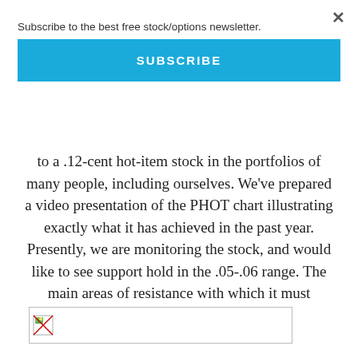Subscribe to the best free stock/options newsletter.
SUBSCRIBE
to a .12-cent hot-item stock in the portfolios of many people, including ourselves. We've prepared a video presentation of the PHOT chart illustrating exactly what it has achieved in the past year. Presently, we are monitoring the stock, and would like to see support hold in the .05-.06 range. The main areas of resistance with which it must contend are sitting at .08, .11 & .12.
[Figure (other): Broken/loading image placeholder thumbnail]